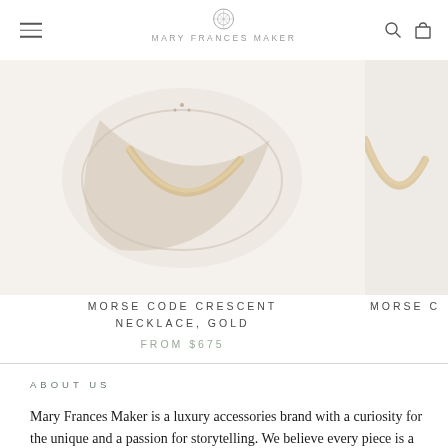Mary Frances Maker
[Figure (photo): Close-up product photo of a gold morse code crescent necklace on a light background]
MORSE CODE CRESCENT NECKLACE, GOLD
FROM $675
[Figure (photo): Partial view of a second morse code product]
MORSE C
ABOUT US
Mary Frances Maker is a luxury accessories brand with a curiosity for the unique and a passion for storytelling. We believe every piece is a vessel for stories, and we would be honored to create pieces that tell yours.